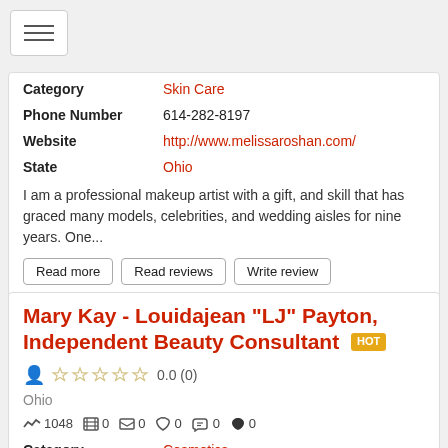[Figure (other): Hamburger menu icon button]
| Category | Skin Care |
| Phone Number | 614-282-8197 |
| Website | http://www.melissaroshan.com/ |
| State | Ohio |
I am a professional makeup artist with a gift, and skill that has graced many models, celebrities, and wedding aisles for nine years. One...
Read more
Read reviews
Write review
Mary Kay - Louidajean "LJ" Payton, Independent Beauty Consultant HOT
0.0 (0)
Ohio
1048  0  0  0  0  0
| Category | Cosmetics |
| Phone Number | 614-864-4804 |